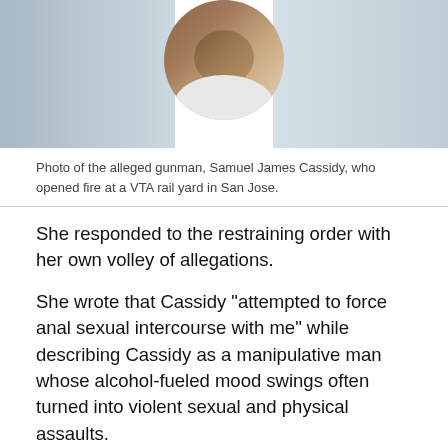[Figure (photo): Photo of the alleged gunman Samuel James Cassidy, showing a man from the shoulders up against a neutral background, partially cropped at the top of the frame.]
Photo of the alleged gunman, Samuel James Cassidy, who opened fire at a VTA rail yard in San Jose.
She responded to the restraining order with her own volley of allegations.
She wrote that Cassidy "attempted to force anal sexual intercourse with me" while describing Cassidy as a manipulative man whose alcohol-fueled mood swings often turned into violent sexual and physical assaults.
The two ultimately dropped the matter, according to the woman's attorney, and Cassidy continued his employment at the VTA.